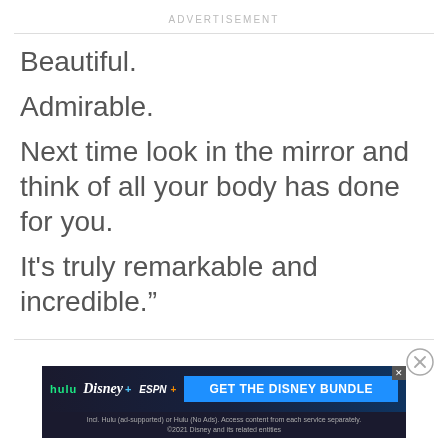ADVERTISEMENT
Beautiful.

Admirable.

Next time look in the mirror and think of all your body has done for you.

It's truly remarkable and incredible.”
[Figure (other): Disney Bundle advertisement banner with Hulu, Disney+, ESPN+ logos and a blue 'GET THE DISNEY BUNDLE' button. Fine print: Incl. Hulu (ad-supported) or Hulu (No Ads). Access content from each service separately. ©2021 Disney and its related entities.]